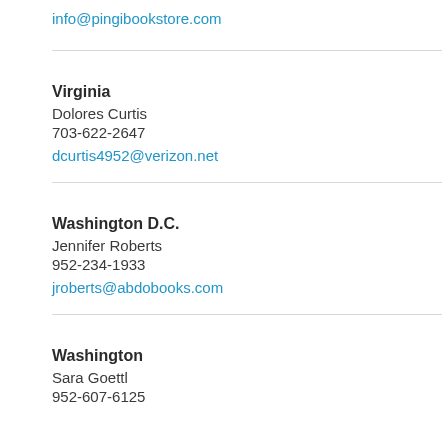info@pingibookstore.com
Virginia
Dolores Curtis
703-622-2647
dcurtis4952@verizon.net
Washington D.C.
Jennifer Roberts
952-234-1933
jroberts@abdobooks.com
Washington
Sara Goettl
952-607-6125